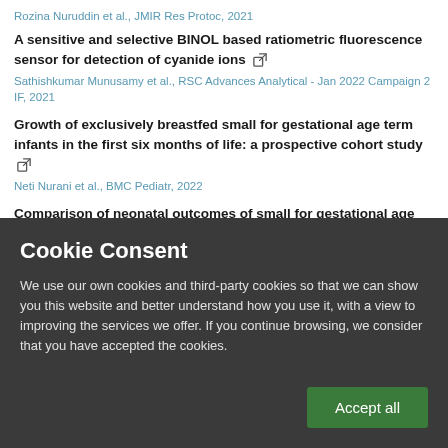Rozina Nuruddin et al., JMIR Res Protoc, 2021
A sensitive and selective BINOL based ratiometric fluorescence sensor for detection of cyanide ions
Sathishkumar Munusamy et al., RSC Advances Analytical - Jan 2022 Campaign 2 IF, 2021
Growth of exclusively breastfed small for gestational age term infants in the first six months of life: a prospective cohort study
Neti Nurani et al., BMC Pediatr, 2022
Comparison of neonatal outcomes of small for gestational age and appropriate for gestational age preterm infants born at 28–36 weeks of gestation: a
Cookie Consent
We use our own cookies and third-party cookies so that we can show you this website and better understand how you use it, with a view to improving the services we offer. If you continue browsing, we consider that you have accepted the cookies.